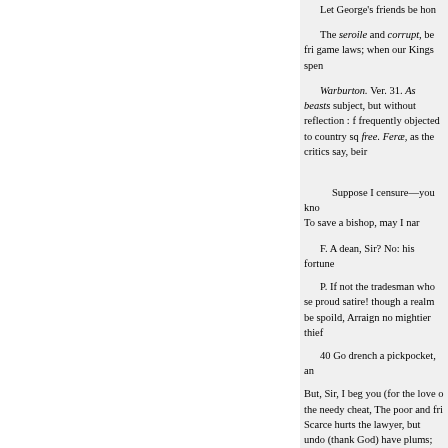Let George's friends be hon
The seroile and corrupt, be fri game laws; when our Kings spen
Warburton. Ver. 31. As beasts subject, but without reflection : f frequently objected to country sq free. Feræ, as the critics say, beir
Suppose I censure—you kno To save a bishop, may I nar
F. A dean, Sir? No: his fortune
P. If not the tradesman who se proud satire! though a realm be spoild, Arraign no mightier thief
40 Go drench a pickpocket, an
But, Sir, I beg you (for the love o the needy cheat, The poor and fri Scarce hurts the lawyer, but undo (thank God) have plums; Still be